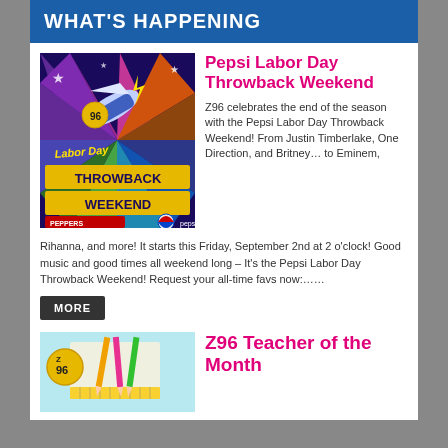WHAT'S HAPPENING
[Figure (illustration): Pepsi Labor Day Throwback Weekend promotional graphic with Z96 radio branding, colorful retro design with lightning bolts and stars]
Pepsi Labor Day Throwback Weekend
Z96 celebrates the end of the season with the Pepsi Labor Day Throwback Weekend! From Justin Timberlake, One Direction, and Britney… to Eminem, Rihanna, and more! It starts this Friday, September 2nd at 2 o'clock! Good music and good times all weekend long – It's the Pepsi Labor Day Throwback Weekend! Request your all-time favs now:……
MORE
[Figure (illustration): Z96 Teacher of the Month promotional graphic with school supplies background]
Z96 Teacher of the Month